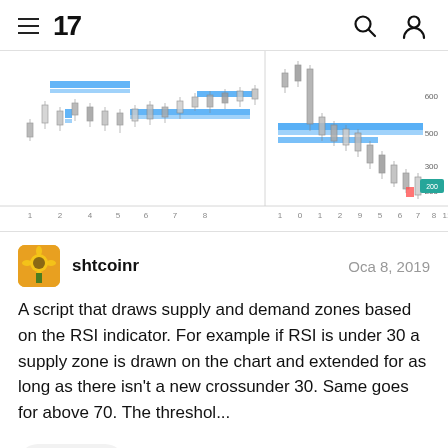TradingView navigation header with hamburger menu, TV logo, search and user icons
[Figure (continuous-plot): Stock chart showing price action with horizontal blue support/resistance zone lines drawn across two chart panels. Left panel shows price consolidating around blue zone lines with candles, right panel shows a sharp price decline with blue zone lines marked at higher levels and price dropping to lower levels around 200. X-axis shows numbered time periods 1-11.]
shtcoinr
Oca 8, 2019
A script that draws supply and demand zones based on the RSI indicator. For example if RSI is under 30 a supply zone is drawn on the chart and extended for as long as there isn't a new crossunder 30. Same goes for above 70. The threshol...
3289
73